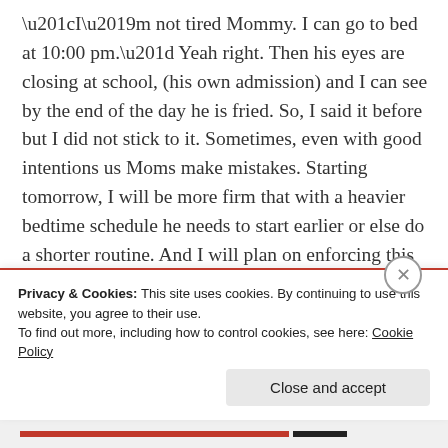“I’m not tired Mommy. I can go to bed at 10:00 pm.” Yeah right. Then his eyes are closing at school, (his own admission) and I can see by the end of the day he is fried. So, I said it before but I did not stick to it. Sometimes, even with good intentions us Moms make mistakes. Starting tomorrow, I will be more firm that with a heavier bedtime schedule he needs to start earlier or else do a shorter routine. And I will plan on enforcing this more strictly and holding myself accountable. Another thing I did wrong was that I was not forceful enough after school that I needed to work. Michael was testing and rude, then
Privacy & Cookies: This site uses cookies. By continuing to use this website, you agree to their use.
To find out more, including how to control cookies, see here: Cookie Policy
Close and accept